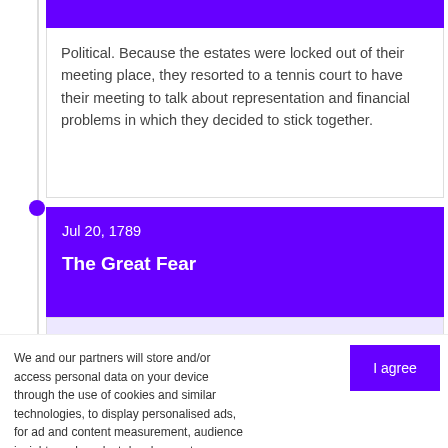Political. Because the estates were locked out of their meeting place, they resorted to a tennis court to have their meeting to talk about representation and financial problems in which they decided to stick together.
Jul 20, 1789
The Great Fear
We and our partners will store and/or access personal data on your device through the use of cookies and similar technologies, to display personalised ads, for ad and content measurement, audience insights and product development.
By clicking 'I agree,' you consent to this, or you can manage your preferences.